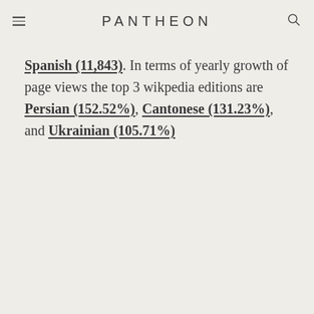PANTHEON
Spanish (11,843). In terms of yearly growth of page views the top 3 wikpedia editions are Persian (152.52%), Cantonese (131.23%), and Ukrainian (105.71%)